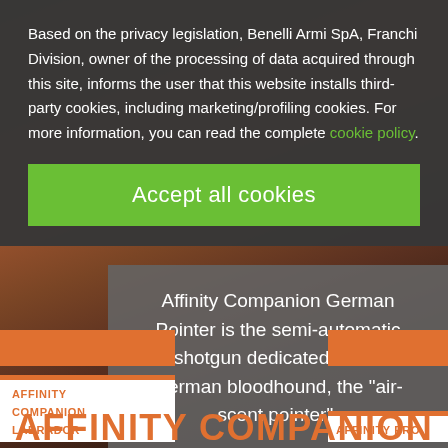Based on the privacy legislation, Benelli Armi SpA, Franchi Division, owner of the processing of data acquired through this site, informs the user that this website installs third-party cookies, including marketing/profiling cookies. For more information, you can read the complete cookie policy.
Accept all cookies
[Figure (photo): Blurred outdoor background showing warm brown and reddish tones, suggestive of a hunting or outdoor scene]
Affinity Companion German Pointer is the semi-automatic shotgun dedicated to the German bloodhound, the "air-scent pointer".
AFFINITY COMPANION LABRADOR
AFFINITY PRO
AFFINITY COMPANION